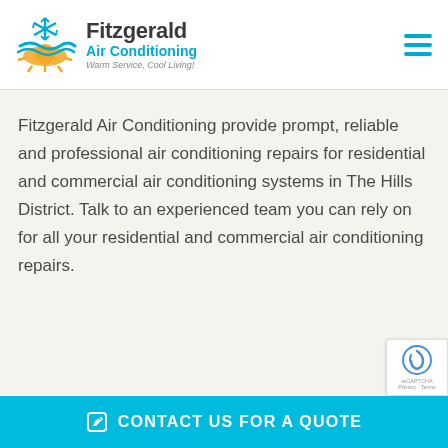[Figure (logo): Fitzgerald Air Conditioning logo with snowflake and sun graphic, company name 'Fitzgerald Air Conditioning' and tagline 'Warm Service, Cool Living!']
Fitzgerald Air Conditioning provide prompt, reliable and professional air conditioning repairs for residential and commercial air conditioning systems in The Hills District. Talk to an experienced team you can rely on for all your residential and commercial air conditioning repairs.
CONTACT US FOR A QUOTE